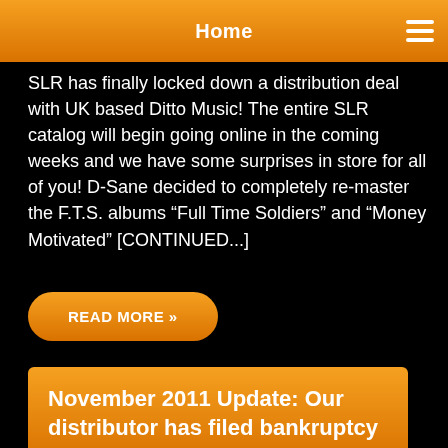Home
SLR has finally locked down a distribution deal with UK based Ditto Music! The entire SLR catalog will begin going online in the coming weeks and we have some surprises in store for all of you! D-Sane decided to completely re-master the F.T.S. albums “Full Time Soldiers” and “Money Motivated” [CONTINUED...]
READ MORE »
November 2011 Update: Our distributor has filed bankruptcy
NOVEMBER 12, 2011 • NO COMMENTS • SLR NEWS